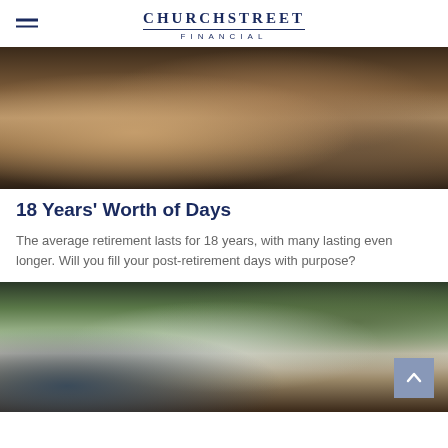ChurchStreet Financial
[Figure (photo): Elderly person's hands holding a tablet device]
18 Years' Worth of Days
The average retirement lasts for 18 years, with many lasting even longer. Will you fill your post-retirement days with purpose?
[Figure (photo): Tablet device outdoors near a fire pit with grass in background]